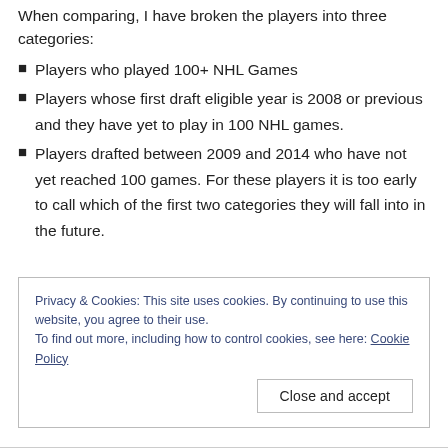When comparing, I have broken the players into three categories:
Players who played 100+ NHL Games
Players whose first draft eligible year is 2008 or previous and they have yet to play in 100 NHL games.
Players drafted between 2009 and 2014 who have not yet reached 100 games. For these players it is too early to call which of the first two categories they will fall into in the future.
Privacy & Cookies: This site uses cookies. By continuing to use this website, you agree to their use.
To find out more, including how to control cookies, see here: Cookie Policy
Close and accept